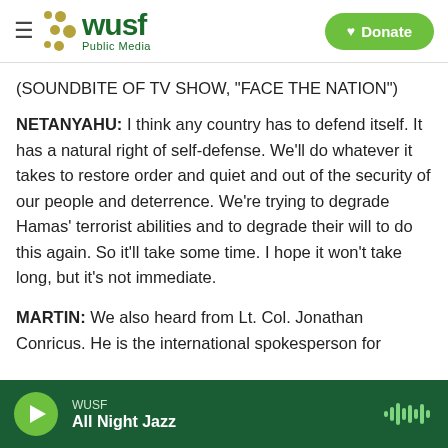WUSF Public Media — Donate
(SOUNDBITE OF TV SHOW, "FACE THE NATION")
NETANYAHU: I think any country has to defend itself. It has a natural right of self-defense. We'll do whatever it takes to restore order and quiet and out of the security of our people and deterrence. We're trying to degrade Hamas' terrorist abilities and to degrade their will to do this again. So it'll take some time. I hope it won't take long, but it's not immediate.
MARTIN: We also heard from Lt. Col. Jonathan Conricus. He is the international spokesperson for
WUSF — All Night Jazz